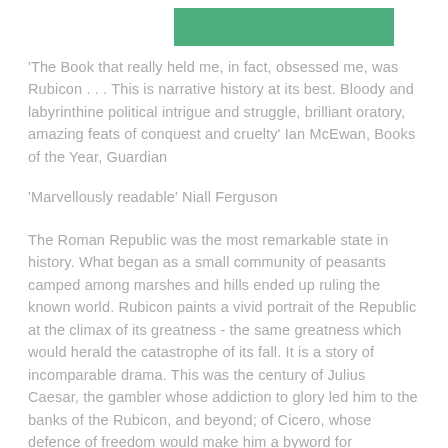[Figure (other): Green rectangular decorative bar at the top center of the page]
'The Book that really held me, in fact, obsessed me, was Rubicon . . . This is narrative history at its best. Bloody and labyrinthine political intrigue and struggle, brilliant oratory, amazing feats of conquest and cruelty' Ian McEwan, Books of the Year, Guardian
'Marvellously readable' Niall Ferguson
The Roman Republic was the most remarkable state in history. What began as a small community of peasants camped among marshes and hills ended up ruling the known world. Rubicon paints a vivid portrait of the Republic at the climax of its greatness - the same greatness which would herald the catastrophe of its fall. It is a story of incomparable drama. This was the century of Julius Caesar, the gambler whose addiction to glory led him to the banks of the Rubicon, and beyond; of Cicero, whose defence of freedom would make him a byword for eloquence; of Spartacus, the slave who dared to challenge a superpower; of